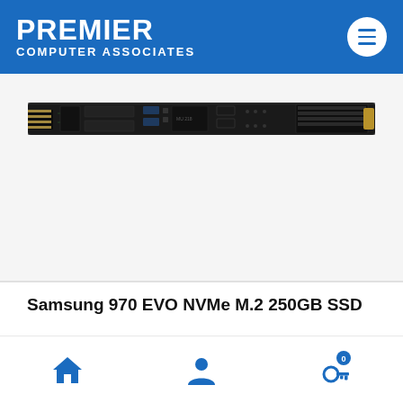PREMIER COMPUTER ASSOCIATES
[Figure (photo): Samsung 970 EVO NVMe M.2 250GB SSD — a thin black PCB circuit board with chips and connectors, viewed from above on a white background.]
Samsung 970 EVO NVMe M.2 250GB SSD
Home | Account | Cart (0)